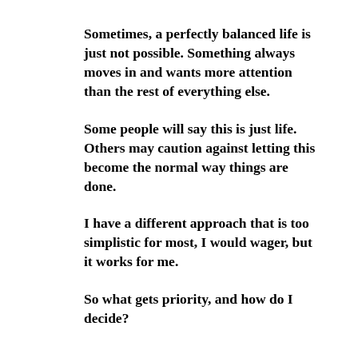Sometimes, a perfectly balanced life is just not possible. Something always moves in and wants more attention than the rest of everything else.
Some people will say this is just life. Others may caution against letting this become the normal way things are done.
I have a different approach that is too simplistic for most, I would wager, but it works for me.
So what gets priority, and how do I decide?